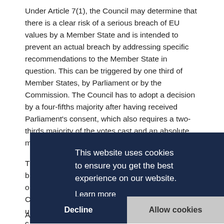Under Article 7(1), the Council may determine that there is a clear risk of a serious breach of EU values by a Member State and is intended to prevent an actual breach by addressing specific recommendations to the Member State in question. This can be triggered by one third of Member States, by Parliament or by the Commission. The Council has to adopt a decision by a four-fifths majority after having received Parliament's consent, which also requires a two-thirds majority of the votes cast and an absolute majority of MEPs.
T... b... o... C... u... c...
[Figure (screenshot): Cookie consent banner overlay with dark navy background. Text reads: 'This website uses cookies to ensure you get the best experience on our website.' with a 'Learn more' link. Two buttons: 'Decline' (dark) and 'Allow cookies' (light gray).]
A... suspension of voting rights in the Council.